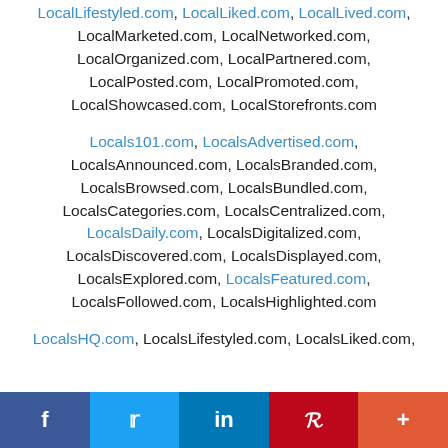LocalLifestyled.com, LocalLiked.com, LocalLived.com, LocalMarketed.com, LocalNetworked.com, LocalOrganized.com, LocalPartnered.com, LocalPosted.com, LocalPromoted.com, LocalShowcased.com, LocalStorefronts.com
Locals101.com, LocalsAdvertised.com, LocalsAnnounced.com, LocalsBranded.com, LocalsBrowsed.com, LocalsBundled.com, LocalsCategories.com, LocalsCentralized.com, LocalsDaily.com, LocalsDigitalized.com, LocalsDiscovered.com, LocalsDisplayed.com, LocalsExplored.com, LocalsFeatured.com, LocalsFollowed.com, LocalsHighlighted.com
LocalsHQ.com, LocalsLifestyled.com, LocalsLiked.com,
[Figure (infographic): Social media share bar with Facebook, Twitter, LinkedIn, Pinterest, and More (+) buttons]